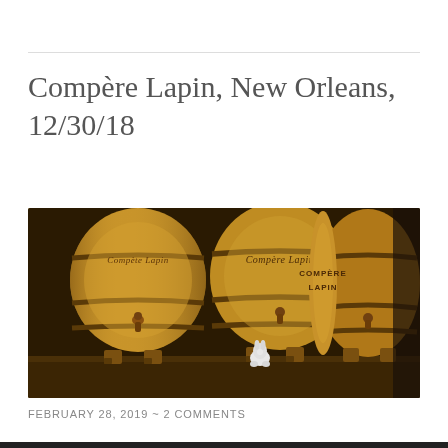Compère Lapin, New Orleans, 12/30/18
[Figure (photo): Three wooden barrels branded with 'Compère Lapin' text, displayed on a shelf. A small white ceramic rabbit figurine sits in front of the middle barrel. The barrels are oak-colored with dark metal bands and wooden spigots.]
FEBRUARY 28, 2019  ~  2 COMMENTS